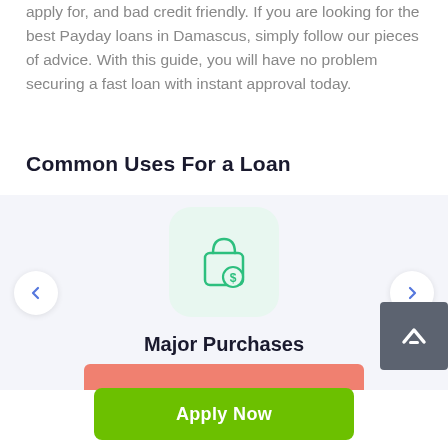apply for, and bad credit friendly. If you are looking for the best Payday loans in Damascus, simply follow our pieces of advice. With this guide, you will have no problem securing a fast loan with instant approval today.
Common Uses For a Loan
[Figure (illustration): Carousel showing 'Major Purchases' with a shopping bag icon with dollar sign, left and right navigation arrows, and a partially visible orange bar at the bottom.]
Apply Now
Applying does NOT affect your credit score!
No credit check to apply.